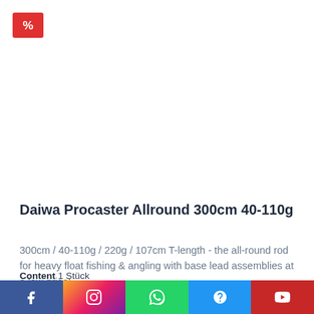[Figure (other): Red sale/discount badge with percent symbol in top-left corner]
Daiwa Procaster Allround 300cm 40-110g
300cm / 40-110g / 220g / 107cm T-length - the all-round rod for heavy float fishing & angling with base lead assemblies at a low price!
Content 1 Stück
€47.77 *
[Figure (infographic): Social media bottom bar with Facebook, Instagram, WhatsApp, Help/Question mark, and YouTube icons]